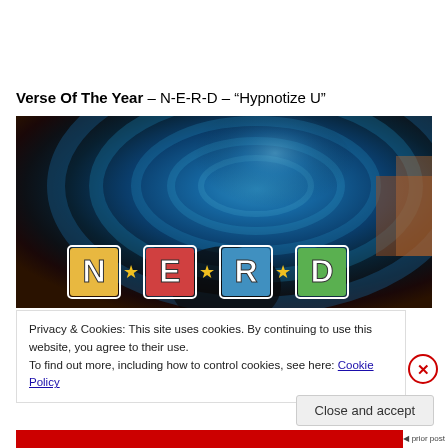Verse Of The Year – N-E-R-D – “Hypnotize U”
[Figure (photo): N*E*R*D album art image with dark blue swirling tunnel background and colorful N*E*R*D logo letters at the bottom]
Privacy & Cookies: This site uses cookies. By continuing to use this website, you agree to their use.
To find out more, including how to control cookies, see here: Cookie Policy
Close and accept